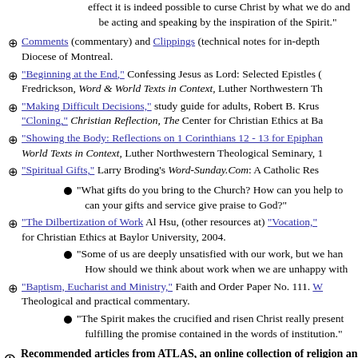effect it is indeed possible to curse Christ by what we do and be acting and speaking by the inspiration of the Spirit."
Comments (commentary) and Clippings (technical notes for in-depth Diocese of Montreal.
"Beginning at the End," Confessing Jesus as Lord: Selected Epistles ( Fredrickson, Word & World Texts in Context, Luther Northwestern Th
"Making Difficult Decisions," study guide for adults, Robert B. Krus "Cloning," Christian Reflection, The Center for Christian Ethics at Ba
"Showing the Body: Reflections on 1 Corinthians 12 - 13 for Epiphan World Texts in Context, Luther Northwestern Theological Seminary, 1
"Spiritual Gifts," Larry Broding's Word-Sunday.Com: A Catholic Res
"What gifts do you bring to the Church? How can you help to can your gifts and service give praise to God?"
"The Dilbertization of Work Al Hsu, (other resources at) "Vocation," for Christian Ethics at Baylor University, 2004.
"Some of us are deeply unsatisfied with our work, but we han How should we think about work when we are unhappy with
"Baptism, Eucharist and Ministry," Faith and Order Paper No. 111. W Theological and practical commentary.
"The Spirit makes the crucified and risen Christ really present fulfilling the promise contained in the words of institution."
Recommended articles from ATLAS, an online collection of religion and below. ATLAS Access options are available for academic institutions, alu schools, and clergy/church offices. Annotated list of "starting place" arti texts (includes direct links).
Allen, Joseph, "Renewal of the Christian Community: A Challenge fo Theological Quarterly, 1985.